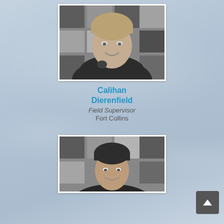[Figure (photo): Black and white headshot of Calihan Dierenfield, a man in a dark polo shirt with a logo, smiling, posed in front of a checkered tile background]
Calihan Dierenfield
Field Supervisor
Fort Collins
[Figure (photo): Black and white headshot of a second person, dark hair, smiling, posed in front of the same checkered tile background, partially visible]